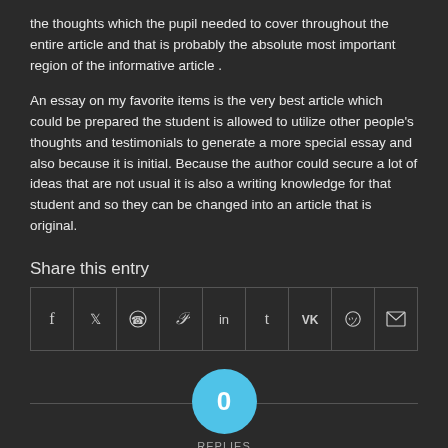the thoughts which the pupil needed to cover throughout the entire article and that is probably the absolute most important region of the informative article .
An essay on my favorite items is the very best article which could be prepared the student is allowed to utilize other people's thoughts and testimonials to generate a more special essay and also because it is initial. Because the author could secure a lot of ideas that are not usual it is also a writing knowledge for that student and so they can be changed into an article that is original.
Share this entry
[Figure (other): Share buttons row with icons for Facebook, Twitter, WhatsApp, Pinterest, LinkedIn, Tumblr, VK, Reddit, and Email]
0 REPLIES